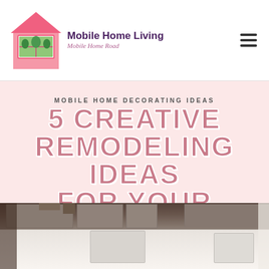Mobile Home Living - Mobile Home Road
MOBILE HOME DECORATING IDEAS
5 CREATIVE REMODELING IDEAS FOR YOUR MOBILE HOME
JANUARY 31, 2018   POST A COMMENT
[Figure (photo): Interior photo showing white kitchen cabinets and appliances in a mobile home]